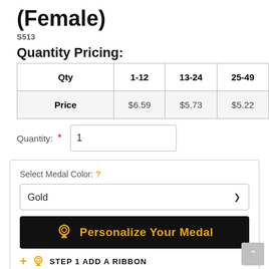(Female)
S513
Quantity Pricing:
| Qty | 1-12 | 13-24 | 25-49 |
| --- | --- | --- | --- |
| Price | $6.59 | $5.73 | $5.22 |
Quantity: * 1
Select Medal Color: ?
Gold
Personalize Your Medal
STEP 1  ADD A RIBBON